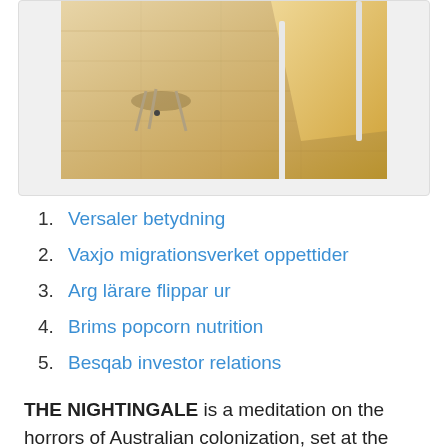[Figure (photo): Photo of wooden floor and white-framed furniture, viewed from above at an angle]
1. Versaler betydning
2. Vaxjo migrationsverket oppettider
3. Arg lärare flippar ur
4. Brims popcorn nutrition
5. Besqab investor relations
THE NIGHTINGALE is a meditation on the horrors of Australian colonization, set at the turn of the 19th